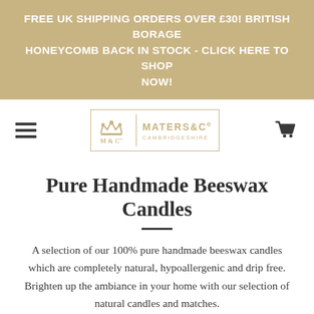FREE UK shipping orders over £30! BRITISH BORAGE HONEYCOMB BACK IN STOCK - CLICK HERE TO SHOP NOW!
[Figure (logo): Maters & Co Cambridgeshire logo with crown icon, navigation hamburger menu and shopping cart icon]
Pure Handmade Beeswax Candles
A selection of our 100% pure handmade beeswax candles which are completely natural, hypoallergenic and drip free. Brighten up the ambiance in your home with our selection of natural candles and matches.